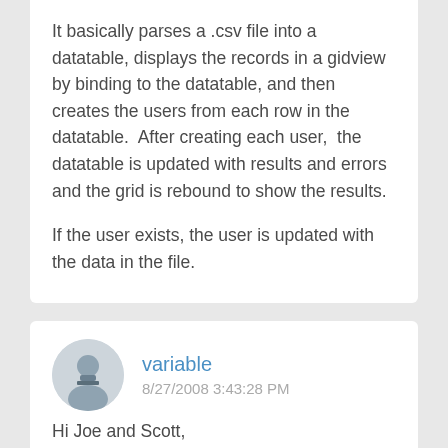It basically parses a .csv file into a datatable, displays the records in a gidview by binding to the datatable, and then creates the users from each row in the datatable.  After creating each user,  the datatable is updated with results and errors and the grid is rebound to show the results.
If the user exists, the user is updated with the data in the file.
variable
8/27/2008 3:43:28 PM
Hi Joe and Scott,